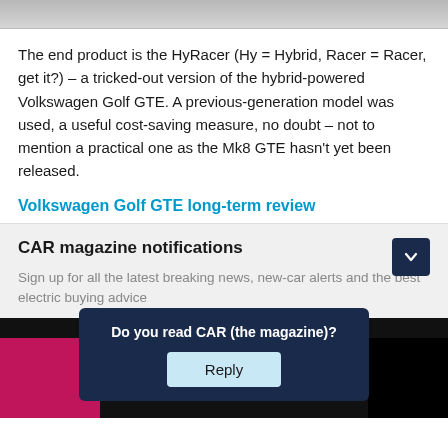[Figure (photo): Partial image strip at top of page, showing a light grey surface]
The end product is the HyRacer (Hy = Hybrid, Racer = Racer, get it?) – a tricked-out version of the hybrid-powered Volkswagen Golf GTE. A previous-generation model was used, a useful cost-saving measure, no doubt – not to mention a practical one as the Mk8 GTE hasn't yet been released.
Volkswagen Golf GTE long-term review
CAR magazine notifications
Sign up for all the latest breaking news, new-car alerts and the best electric buying advice
Do you read CAR (the magazine)?
Reply